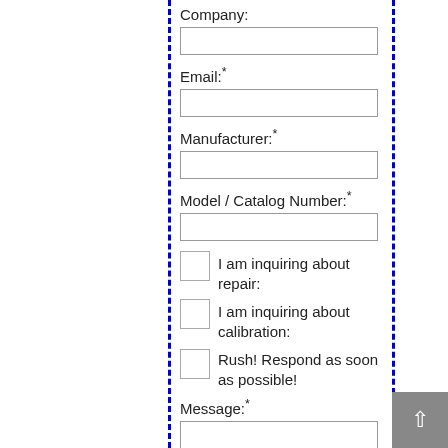Company:
Email:*
Manufacturer:*
Model / Catalog Number:*
I am inquiring about repair:
I am inquiring about calibration:
Rush! Respond as soon as possible!
Message:*